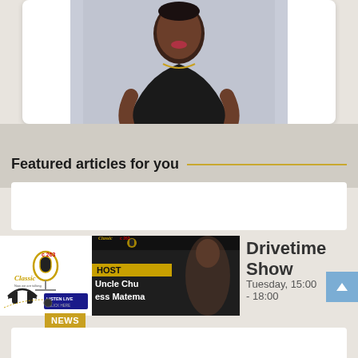[Figure (photo): Portrait photo of a woman in a black top against a light blue-grey background, shown from waist up, looking to her left]
Featured articles for you
[Figure (logo): Classic FM 263 radio station logo with microphone and headphones, 'LISTEN LIVE CLICK HERE' button]
[Figure (photo): Radio show thumbnail with 'HOST Uncle Chu [B]ess Matema' text overlay on dark background, Classic 263 logo at top]
Drivetime Show
Tuesday, 15:00 - 18:00
NEWS